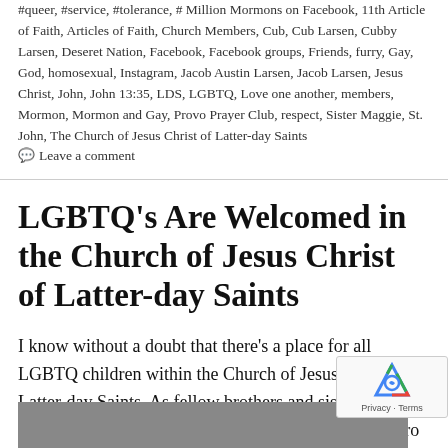#queer, #service, #tolerance, # Million Mormons on Facebook, 11th Article of Faith, Articles of Faith, Church Members, Cub, Cub Larsen, Cubby Larsen, Deseret Nation, Facebook, Facebook groups, Friends, furry, Gay, God, homosexual, Instagram, Jacob Austin Larsen, Jacob Larsen, Jesus Christ, John, John 13:35, LDS, LGBTQ, Love one another, members, Mormon, Mormon and Gay, Provo Prayer Club, respect, Sister Maggie, St. John, The Church of Jesus Christ of Latter-day Saints  💬 Leave a comment
LGBTQ's Are Welcomed in the Church of Jesus Christ of Latter-day Saints
I know without a doubt that there's a place for all LGBTQ children within the Church of Jesus Christ of Latter-day Saints. As fellow brothers and sisters, everything that I've studied in our doctr… displays zero evidence that I am not allowed to l…
[Figure (photo): A partial photo strip at the bottom of the page showing decorative items]